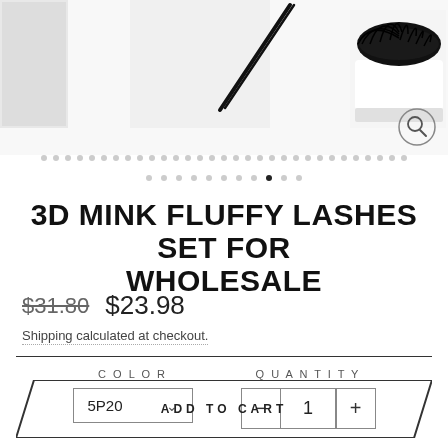[Figure (photo): Product images of 3D mink fluffy lashes set shown from multiple angles including tweezers and lash display tray, with image carousel dots below]
3D MINK FLUFFY LASHES SET FOR WHOLESALE
$31.80  $23.98
Shipping calculated at checkout.
COLOR  QUANTITY  5P20  1